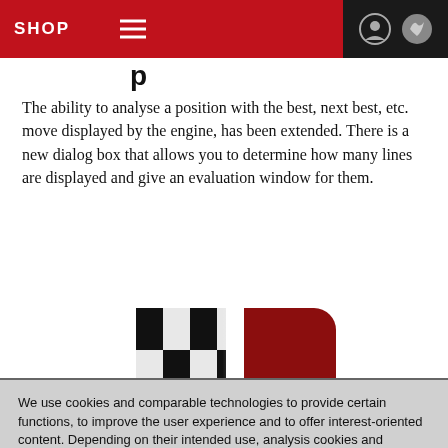SHOP
p
The ability to analyse a position with the best, next best, etc. move displayed by the engine, has been extended. There is a new dialog box that allows you to determine how many lines are displayed and give an evaluation window for them.
[Figure (logo): Chessbase logo: checkerboard pattern in black and white on the left, solid dark red rounded rectangle on the right]
We use cookies and comparable technologies to provide certain functions, to improve the user experience and to offer interest-oriented content. Depending on their intended use, analysis cookies and marketing cookies may be used in addition to technically required cookies. Here you can make detailed settings or revoke your consent (if necessary partially) with effect for the future. Further information can be found in our data protection declaration.